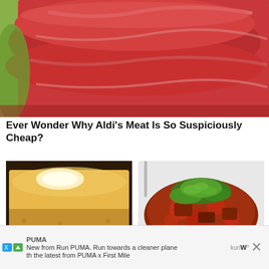[Figure (photo): Close-up photo of raw red meat stacked on a surface with green background]
Ever Wonder Why Aldi's Meat Is So Suspiciously Cheap?
[Figure (photo): Close-up photo of a slice of golden cornbread with butter melting on top]
[Figure (photo): Photo of Swiss steak dish garnished with fresh green herbs on a white plate]
What to Do to Make Jiffy Cornbread More Moist
This Swiss Steak Recipe Is Blowing Up The Web For Good Reason
PUMA
New from Run PUMA. Run towards a cleaner plane
th the latest from PUMA x First Mile